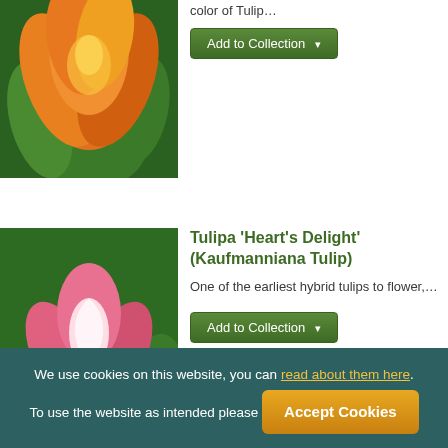[Figure (photo): Close-up of orange and yellow tulip flowers]
color of Tulip...
Add to Collection
[Figure (photo): Pink and white Kaufmanniana tulips in a garden]
Tulipa 'Heart's Delight' (Kaufmanniana Tulip)
One of the earliest hybrid tulips to flower,...
Add to Collection
[Figure (photo): Partial view of another tulip product card at bottom]
We use cookies on this website, you can read about them here. To use the website as intended please Accept Cookies